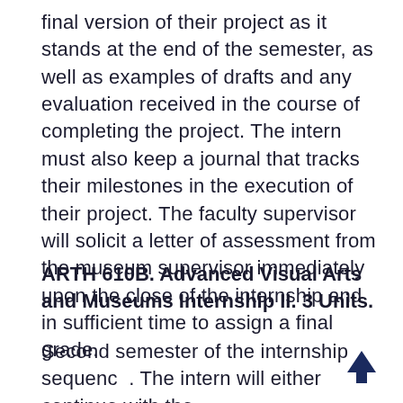final version of their project as it stands at the end of the semester, as well as examples of drafts and any evaluation received in the course of completing the project. The intern must also keep a journal that tracks their milestones in the execution of their project. The faculty supervisor will solicit a letter of assessment from the museum supervisor immediately upon the close of the internship and in sufficient time to assign a final grade.
ARTH 610B. Advanced Visual Arts and Museums Internship II. 3 Units.
Second semester of the internship sequence. The intern will either continue with the